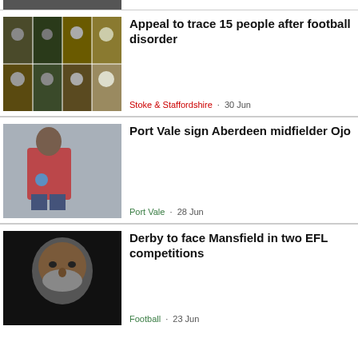[Figure (photo): Partial view of top image cropped at top edge]
[Figure (photo): Grid of 8 photos showing people at a football match for disorder appeal article]
Appeal to trace 15 people after football disorder
Stoke & Staffordshire · 30 Jun
[Figure (photo): Football player in red Wigan Athletic kit running]
Port Vale sign Aberdeen midfielder Ojo
Port Vale · 28 Jun
[Figure (photo): Close-up portrait of a man with beard in dark lighting]
Derby to face Mansfield in two EFL competitions
Football · 23 Jun